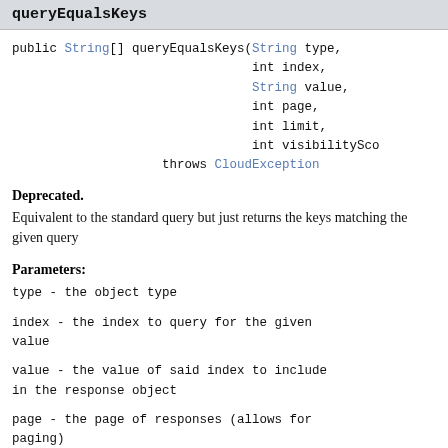queryEqualsKeys
public String[] queryEqualsKeys(String type,
                                int index,
                                String value,
                                int page,
                                int limit,
                                int visibilityScope
                    throws CloudException
Deprecated.
Equivalent to the standard query but just returns the keys matching the given query
Parameters:
type - the object type
index - the index to query for the given value
value - the value of said index to include in the response object
page - the page of responses (allows for paging)